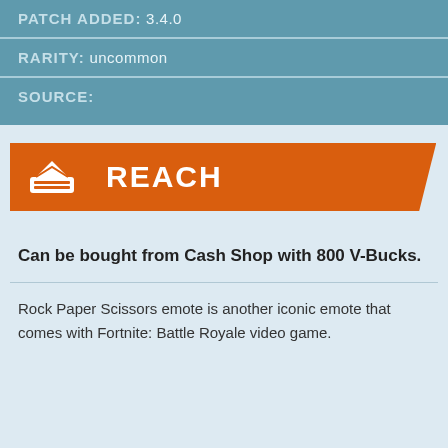| PATCH ADDED: | 3.4.0 |
| RARITY: | uncommon |
| SOURCE: |  |
REACH
Can be bought from Cash Shop with 800 V-Bucks.
Rock Paper Scissors emote is another iconic emote that comes with Fortnite: Battle Royale video game.